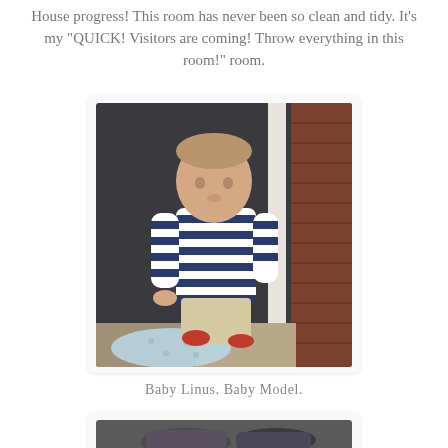House progress! This room has never been so clean and tidy. It's my "QUICK! Visitors are coming! Throw everything in this room!" room.
[Figure (photo): A toddler boy standing in front of a dark front door with brick wall visible on the right, wearing a navy and white striped long-sleeve shirt, khaki shorts, and red shoes, holding a light blue polka-dot blanket.]
Baby Linus. Baby Model.
[Figure (photo): Partial view of another photo, showing what appears to be shoes or objects, cropped at the bottom of the page.]